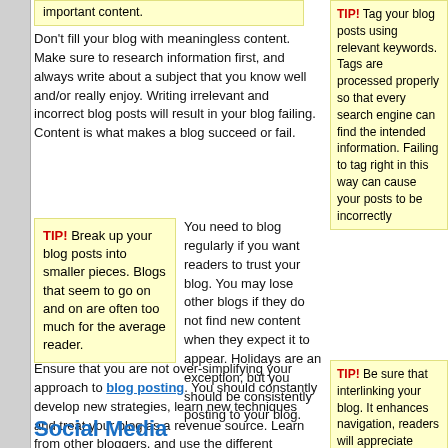Don't fill your blog with meaningless content. Make sure to research information first, and always write about a subject that you know well and/or really enjoy. Writing irrelevant and incorrect blog posts will result in your blog failing. Content is what makes a blog succeed or fail.
TIP! Tag your blog posts using relevant keywords. Tags are processed properly so that every search engine can find the intended information. Failing to tag right in this way can cause your posts to be incorrectly indexed.
TIP! Break up your blog posts into smaller pieces. Blogs that seem to go on and on are often too much for the average reader.
You need to blog regularly if you want readers to trust your blog. You may lose other blogs if they do not find new content when they expect it to appear. Holidays are an exception, but you should be consistently posting to your blog.
Ensure that you are not over-simplifying your approach to blog posting. You should constantly develop new strategies, learn new techniques and treat your blog as a revenue source. Learn from other bloggers, and use the different techniques and strategies that you learn as you go. If you keep learning and improving with your blogging, you will stay on a successful path with it.
TIP! Be sure that interlinking your blog. It enhances navigation, readers will appreciate
Social Media